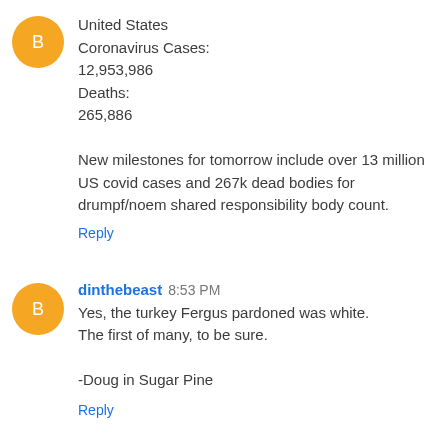United States
Coronavirus Cases:
12,953,986
Deaths:
265,886

New milestones for tomorrow include over 13 million US covid cases and 267k dead bodies for drumpf/noem shared responsibility body count.
Reply
dinthebeast 8:53 PM
Yes, the turkey Fergus pardoned was white.
The first of many, to be sure.

-Doug in Sugar Pine
Reply
PilotX 9:43 PM